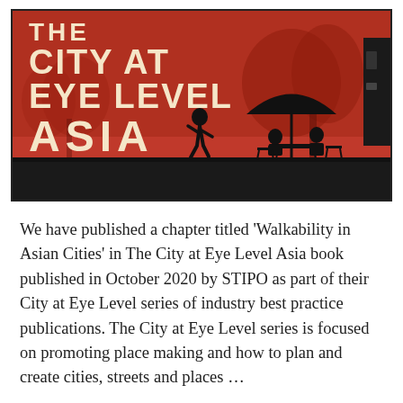[Figure (illustration): Book cover of 'The City at Eye Level Asia' with a red background, silhouettes of a running person, people sitting at an outdoor table under an umbrella, and trees in the background. Title text in large cream/beige bold font.]
We have published a chapter titled 'Walkability in Asian Cities' in The City at Eye Level Asia book published in October 2020 by STIPO as part of their City at Eye Level series of industry best practice publications. The City at Eye Level series is focused on promoting place making and how to plan and create cities, streets and places …